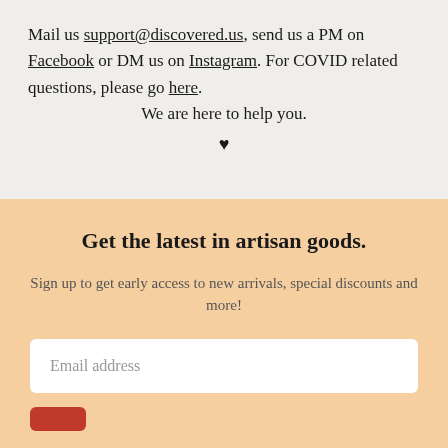Mail us support@discovered.us, send us a PM on Facebook or DM us on Instagram. For COVID related questions, please go here.
We are here to help you. ♥
Get the latest in artisan goods.
Sign up to get early access to new arrivals, special discounts and more!
Email address